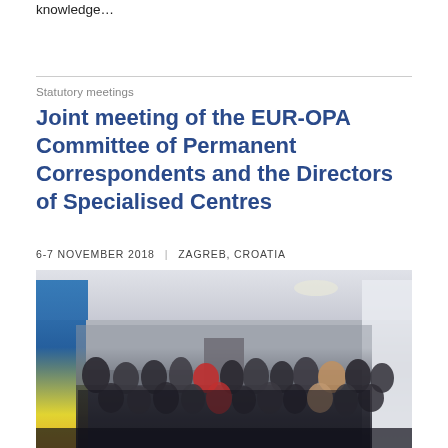knowledge…
Statutory meetings
Joint meeting of the EUR-OPA Committee of Permanent Correspondents and the Directors of Specialised Centres
6-7 NOVEMBER 2018  |  ZAGREB, CROATIA
[Figure (photo): Group photo of approximately 30 participants at the joint meeting, posing in a conference room with EUR-OPA and Council of Europe banners visible on the sides.]